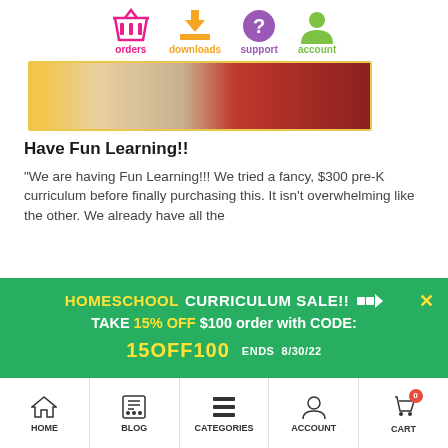[Figure (infographic): Top navigation bar with icons for orders (pink basket), downloads (orange arrow), support (purple question mark), account (green person)]
[Figure (photo): Banner image showing a child in red writing in a book with orange juice nearby]
Have Fun Learning!!
“We are having Fun Learning!!! We tried a fancy, $300 pre-K curriculum before finally purchasing this. It isn’t overwhelming like the other. We already have all the
[Figure (infographic): Green promotional banner: HOMESCHOOL CURRICULUM SALE!! TAKE 15% OFF $100 order with CODE: 15OFF100 ENDS 8/30/22]
[Figure (infographic): Bottom navigation bar with HOME, BLOG, CATEGORIES, ACCOUNT, CART icons]